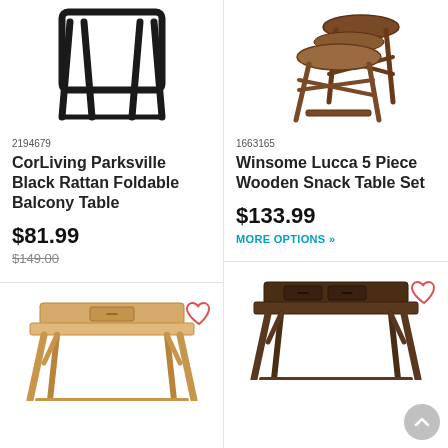[Figure (photo): CorLiving Parksville Black Rattan Foldable Balcony Table product image showing black metal frame]
2194679
CorLiving Parksville Black Rattan Foldable Balcony Table
$81.99
$149.00 (strikethrough)
[Figure (photo): Winsome Lucca 5 Piece Wooden Snack Table Set product image showing wooden folding tray tables]
1663165
Winsome Lucca 5 Piece Wooden Snack Table Set
$133.99
MORE OPTIONS »
[Figure (photo): Light wood writing desk with drawer and angled legs]
[Figure (photo): Dark walnut writing desk with drawer and angled legs]